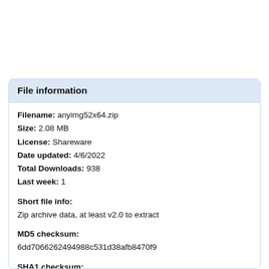File information
Filename: anyimg52x64.zip
Size: 2.08 MB
License: Shareware
Date updated: 4/6/2022
Total Downloads: 938
Last week: 1
Short file info:
Zip archive data, at least v2.0 to extract
MD5 checksum:
6dd7066262494988c531d38afb8470f9
SHA1 checksum:
9473793f6abaa8e50d4c1396a0073bf98e2510c8
Download time